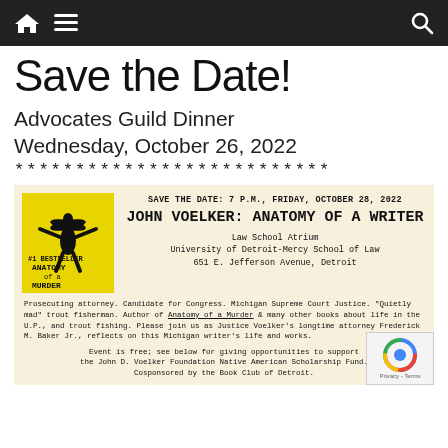Navigation bar with home, menu, and search icons
Save the Date!
Advocates Guild Dinner
Wednesday, October 26, 2022
**************************
[Figure (illustration): Yellow book cover for 'Anatomy of a Murder' with silhouette figures]
SAVE THE DATE: 7 P.M., FRIDAY, OCTOBER 28, 2022
JOHN VOELKER: ANATOMY OF A WRITER
Law School Atrium
University of Detroit-Mercy School of Law
651 E. Jefferson Avenue, Detroit
Prosecuting attorney. Candidate for Congress. Michigan Supreme Court Justice. "Quietly mad" trout fisherman. Author of Anatomy of a Murder & many other books about life in the U.P., and trout fishing. Please join us as Justice Voelker's longtime attorney Frederick M. Baker Jr., reflects on this Michigan writer's life and works.
Event is free; see below for giving opportunities to support the John D. Voelker Foundation Native American Scholarship Fund. Cosponsored by the Book Club of Detroit.